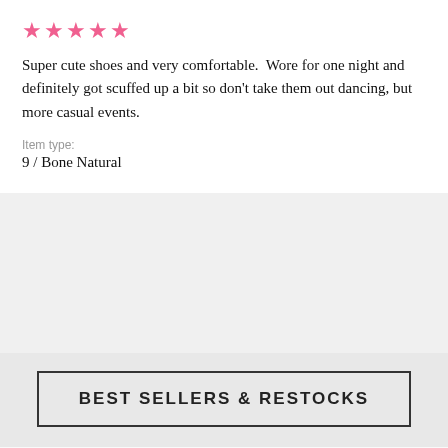★★★★★
Super cute shoes and very comfortable.  Wore for one night and definitely got scuffed up a bit so don't take them out dancing, but more casual events.
Item type:
9 / Bone Natural
BEST SELLERS & RESTOCKS
🍪 This website uses cookies to ensure you get the best experience on our website. Learn more
Got it